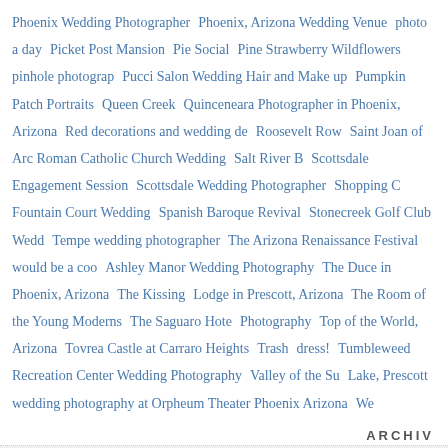Phoenix Wedding Photographer  Phoenix, Arizona Wedding Venue  photo a day  Picket Post Mansion  Pie Social  Pine Strawberry Wildflowers  pinhole photography  Pucci Salon Wedding Hair and Make up  Pumpkin Patch Portraits  Queen Creek  Quinceneara Photographer in Phoenix, Arizona  Red decorations and wedding de  Roosevelt Row  Saint Joan of Arc Roman Catholic Church Wedding  Salt River B  Scottsdale Engagement Session  Scottsdale Wedding Photographer  Shopping C  Fountain Court Wedding  Spanish Baroque Revival  Stonecreek Golf Club Wedd  Tempe wedding photographer  The Arizona Renaissance Festival would be a coo  Ashley Manor Wedding Photography  The Duce in Phoenix, Arizona  The Kissing  Lodge in Prescott, Arizona  The Room of the Young Moderns  The Saguaro Hote  Photography  Top of the World, Arizona  Tovrea Castle at Carraro Heights  Trash  dress!  Tumbleweed Recreation Center Wedding Photography  Valley of the Su  Lake, Prescott  wedding photography at Orpheum Theater Phoenix Arizona  We
ARCHIVES
October 2018
November 2012
October 2012
September 2012
August 2012